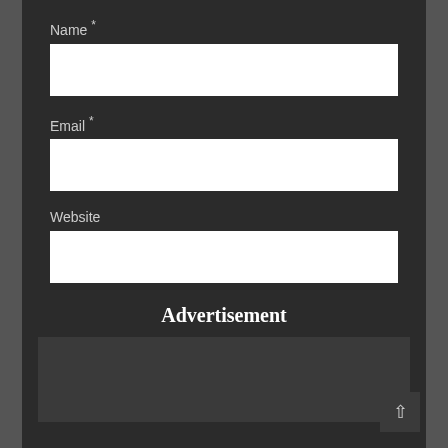Name *
Email *
Website
POST COMMENT
Advertisement